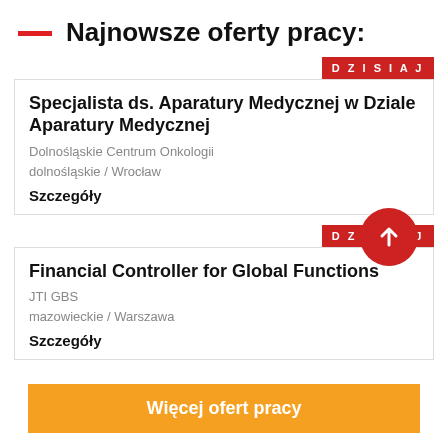Najnowsze oferty pracy:
DZISIAJ
Specjalista ds. Aparatury Medycznej w Dziale Aparatury Medycznej
Dolnośląskie Centrum Onkologii
dolnośląskie / Wrocław
Szczegóły
DZISIAJ
Financial Controller for Global Functions
JTI GBS
mazowieckie / Warszawa
Szczegóły
Więcej ofert pracy